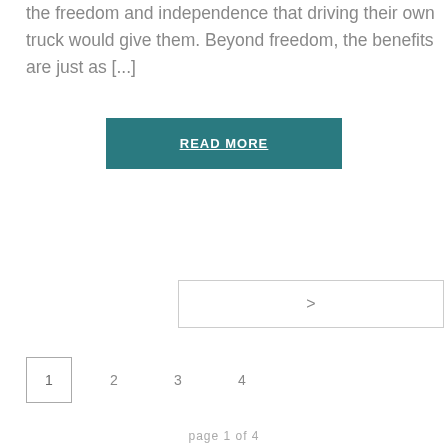the freedom and independence that driving their own truck would give them. Beyond freedom, the benefits are just as [...]
READ MORE
>
1
2
3
4
page 1 of 4